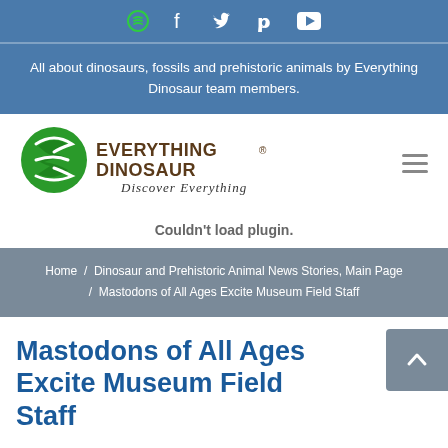Social media icons: Spotify, Facebook, Twitter, Pinterest, YouTube
All about dinosaurs, fossils and prehistoric animals by Everything Dinosaur team members.
[Figure (logo): Everything Dinosaur logo with green circular E icon and text 'EVERYTHING DINOSAUR® Discover Everything']
Couldn't load plugin.
Home / Dinosaur and Prehistoric Animal News Stories, Main Page / Mastodons of All Ages Excite Museum Field Staff
Mastodons of All Ages Excite Museum Field Staff